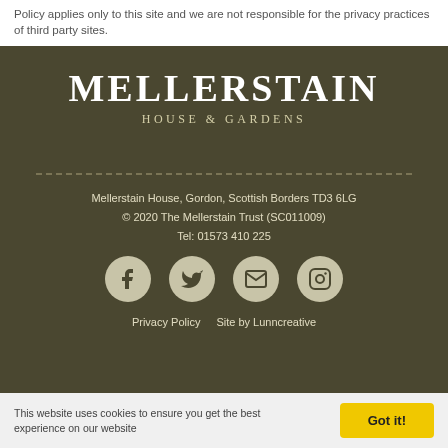Policy applies only to this site and we are not responsible for the privacy practices of third party sites.
[Figure (logo): Mellerstain House & Gardens logo: large serif text 'MELLERSTAIN' with subtitle 'HOUSE & GARDENS' on dark olive background]
Mellerstain House, Gordon, Scottish Borders TD3 6LG
© 2020 The Mellerstain Trust (SC011009)
Tel: 01573 410 225
[Figure (infographic): Social media icons: Facebook, Twitter, Email, Instagram — circular grey buttons on dark background]
Privacy Policy   Site by Lunncreative
This website uses cookies to ensure you get the best experience on our website   Got it!